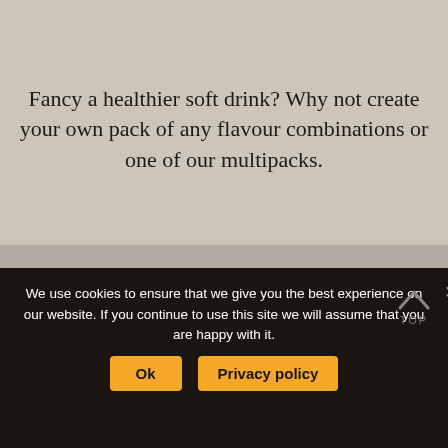Fancy a healthier soft drink? Why not create your own pack of any flavour combinations or one of our multipacks.
[Figure (logo): Soil Association Organic certification logo - circular black and white logo with leaf design]
[Figure (logo): Certified B Corporation logo - black and white circle with B inside]
[Figure (logo): Great Taste Producer award logo - black circular badge with gold border]
[Figure (logo): Great Taste 2021 star award logo - black circular badge with gold star and 2021]
We use cookies to ensure that we give you the best experience on our website. If you continue to use this site we will assume that you are happy with it.
Ok
Privacy policy